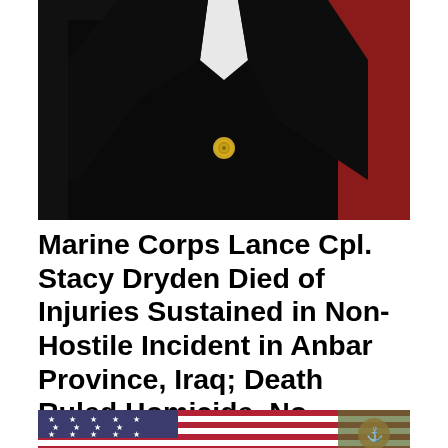[Figure (photo): Partial military portrait photo showing a person in dark Marine Corps dress uniform with a gold button visible, cropped at top — background is black with red visible on right side.]
Marine Corps Lance Cpl. Stacy Dryden Died of Injuries Sustained in Non-Hostile Incident in Anbar Province, Iraq; Death Ruled Homicide, No Charges Filed (October 19, 2008)
[Figure (photo): Partial photo at bottom of page showing the bottom edge of an American flag with stars and stripes, and what appears to be a Marine Corps emblem or medal on the right side.]